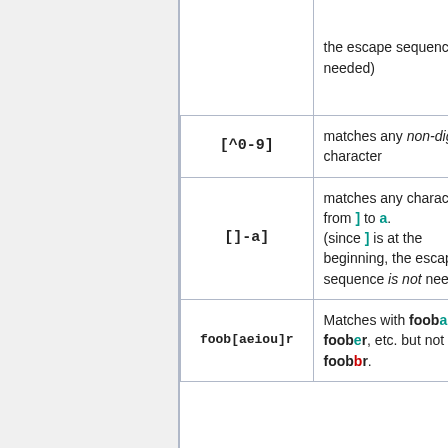| Pattern | Description |
| --- | --- |
| (top row partial) | the escape sequence is needed) |
| [^0-9] | matches any non-digit character |
| []-a] | matches any character from ] to a. (since ] is at the beginning, the escape sequence is not needed) |
| foob[aeio​u]r | Matches with foobar, foobar, etc. but not foobbr. |